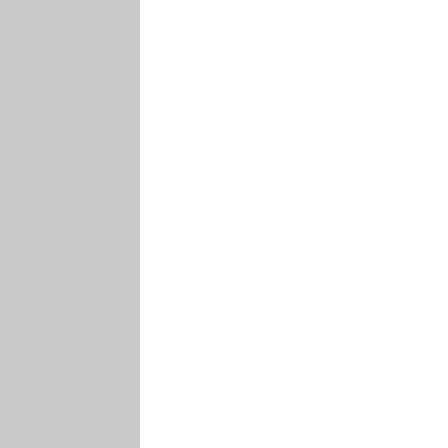suppose "toleran homoac
Pa Apr 30, 201 at 6:5 pm
well… so here we are… worlds apart from one another but we converg on this point. we